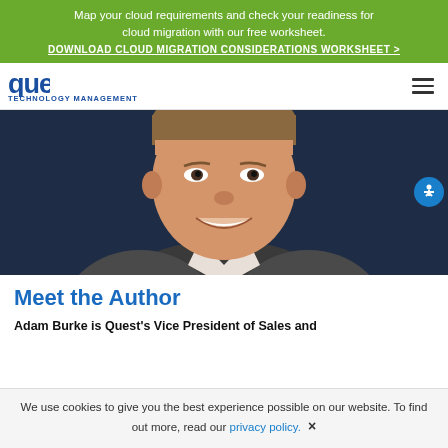Map your cloud requirements and check your readiness for cloud migration with our free worksheet. DOWNLOAD CLOUD MIGRATION CONSIDERATIONS WORKSHEET >
[Figure (logo): Quest Technology Management logo with navigation hamburger menu]
[Figure (photo): Professional headshot photo of Adam Burke, smiling man in suit and striped dress shirt against dark background]
Meet the Author
Adam Burke is Quest's Vice President of Sales and
We use cookies to give you the best experience possible on our website. To find out more, read our privacy policy.